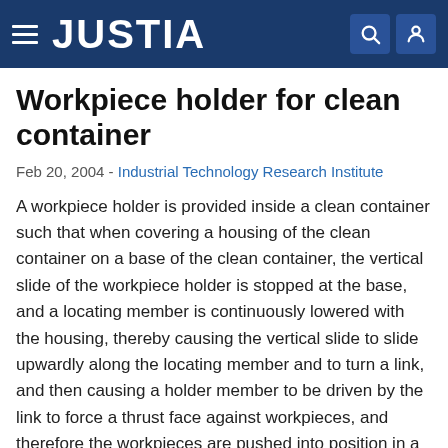JUSTIA
Workpiece holder for clean container
Feb 20, 2004 - Industrial Technology Research Institute
A workpiece holder is provided inside a clean container such that when covering a housing of the clean container on a base of the clean container, the vertical slide of the workpiece holder is stopped at the base, and a locating member is continuously lowered with the housing, thereby causing the vertical slide to slide upwardly along the locating member and to turn a link, and then causing a holder member to be driven by the link to force a thrust face against workpieces, and therefore the workpieces are pushed into position in a cassette on the base. Because the vertical slide does not displace relative to the base when covering the housing